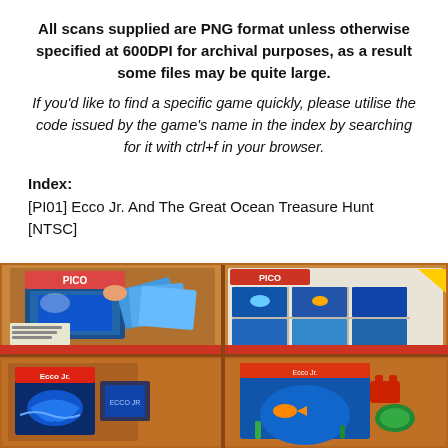All scans supplied are PNG format unless otherwise specified at 600DPI for archival purposes, as a result some files may be quite large.
If you'd like to find a specific game quickly, please utilise the code issued by the game's name in the index by searching for it with ctrl+f in your browser.
Index:
[PI01] Ecco Jr. And The Great Ocean Treasure Hunt [NTSC]
[Figure (photo): Four-panel photo collage showing Sega Pico game cartridge and packaging for Ecco Jr. and The Great Ocean Treasure Hunt, including box art, game cards, and screenshots, set on a wooden surface.]